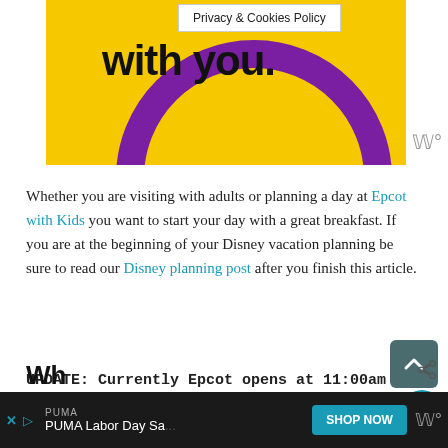[Figure (illustration): Yellow background promotional image with large bold text 'with you.' and a purple circular ring graphic. A 'Privacy & Cookies Policy' banner overlays the top right corner.]
Whether you are visiting with adults or planning a day at Epcot with Kids you want to start your day with a great breakfast. If you are at the beginning of your Disney vacation planning be sure to read our Disney planning post after you finish this article.
UPDATE: Currently Epcot opens at 11:00am and breakfast is not being offered at some locations.
[Figure (other): Partially visible section heading at bottom of page]
PUMA  PUMA Labor Day Sa...  SHOP NOW